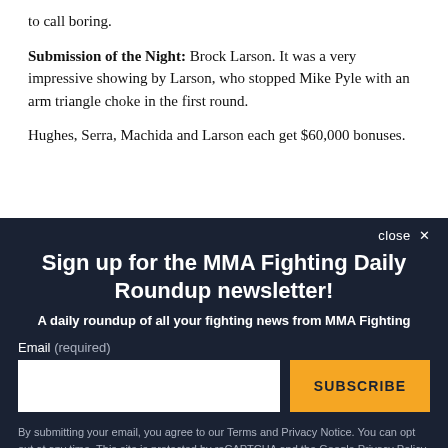to call boring.
Submission of the Night: Brock Larson. It was a very impressive showing by Larson, who stopped Mike Pyle with an arm triangle choke in the first round.
Hughes, Serra, Machida and Larson each get $60,000 bonuses.
Sign up for the MMA Fighting Daily Roundup newsletter!
A daily roundup of all your fighting news from MMA Fighting
By submitting your email, you agree to our Terms and Privacy Notice. You can opt out at any time. This site is protected by reCAPTCHA and the Google Privacy Policy and Terms of Service apply.